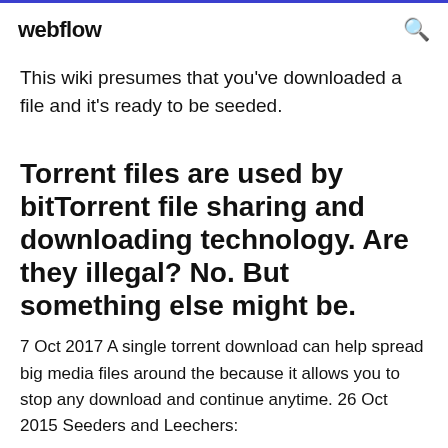webflow
This wiki presumes that you've downloaded a file and it's ready to be seeded.
Torrent files are used by bitTorrent file sharing and downloading technology. Are they illegal? No. But something else might be.
7 Oct 2017 A single torrent download can help spread big media files around the because it allows you to stop any download and continue anytime. 26 Oct 2015 Seeders and Leechers: